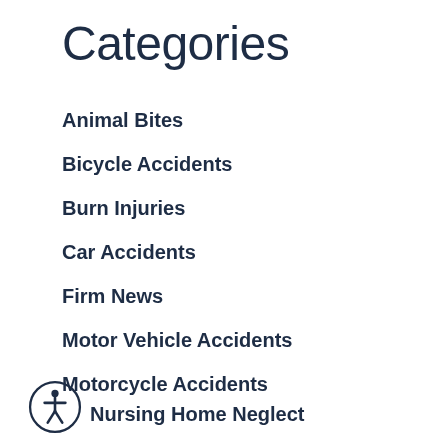Categories
Animal Bites
Bicycle Accidents
Burn Injuries
Car Accidents
Firm News
Motor Vehicle Accidents
Motorcycle Accidents
Nursing Home Neglect